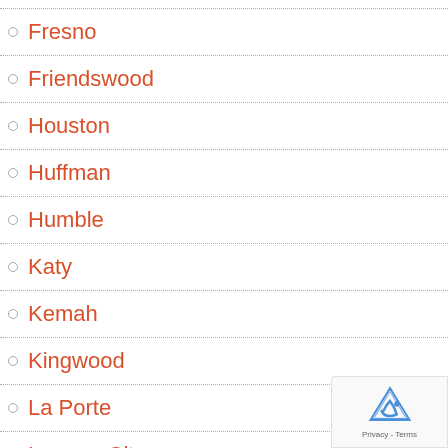Fresno
Friendswood
Houston
Huffman
Humble
Katy
Kemah
Kingwood
La Porte
League City